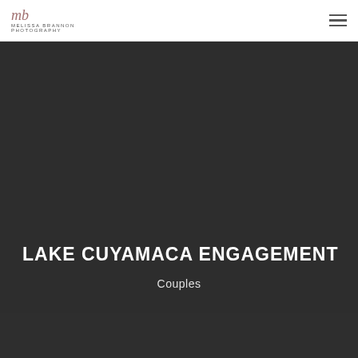Melissa Brannon Photography
[Figure (photo): Dark background hero image area for Lake Cuyamaca Engagement photography portfolio page]
LAKE CUYAMACA ENGAGEMENT
Couples